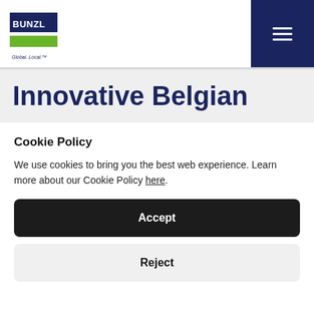[Figure (logo): Bunzl logo with blue and green rectangles and text 'BUNZL' and tagline 'Global. Local.']
Innovative Belgian
Cookie Policy
We use cookies to bring you the best web experience. Learn more about our Cookie Policy here.
Accept
Reject